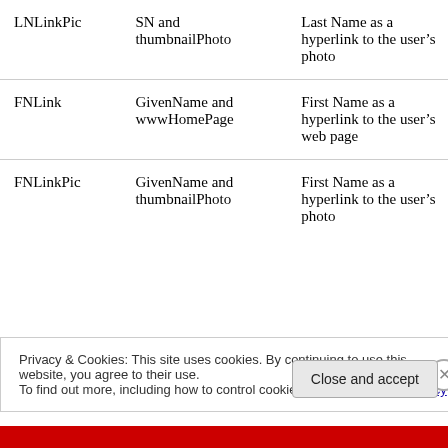| LNLinkPic | SN and thumbnailPhoto | Last Name as a hyperlink to the user’s photo |
| FNLink | GivenName and wwwHomePage | First Name as a hyperlink to the user’s web page |
| FNLinkPic | GivenName and thumbnailPhoto | First Name as a hyperlink to the user’s photo |
Privacy & Cookies: This site uses cookies. By continuing to use this website, you agree to their use. To find out more, including how to control cookies, see here: Cookie Policy